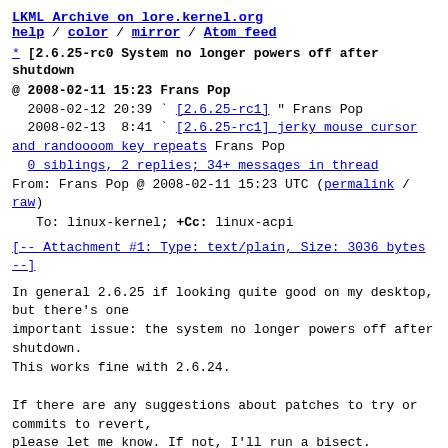LKML Archive on lore.kernel.org
help / color / mirror / Atom feed
* [2.6.25-rc0 System no longer powers off after shutdown
@ 2008-02-11 15:23 Frans Pop
  2008-02-12 20:39 ` [2.6.25-rc1] " Frans Pop
  2008-02-13  8:41 ` [2.6.25-rc1] jerky mouse cursor and randoooom key repeats Frans Pop
  0 siblings, 2 replies; 34+ messages in thread
From: Frans Pop @ 2008-02-11 15:23 UTC (permalink / raw)
   To: linux-kernel; +Cc: linux-acpi
[-- Attachment #1: Type: text/plain, Size: 3036 bytes --]
In general 2.6.25 if looking quite good on my desktop, but there's one
important issue: the system no longer powers off after shutdown.
This works fine with 2.6.24.

If there are any suggestions about patches to try or commits to revert,
please let me know. If not, I'll run a bisect.

Cheers,
FJP